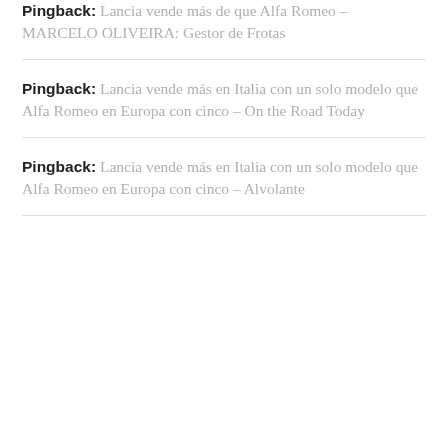Pingback: Lancia vende más de que Alfa Romeo – MARCELO OLIVEIRA: Gestor de Frotas
Pingback: Lancia vende más en Italia con un solo modelo que Alfa Romeo en Europa con cinco – On the Road Today
Pingback: Lancia vende más en Italia con un solo modelo que Alfa Romeo en Europa con cinco – Alvolante